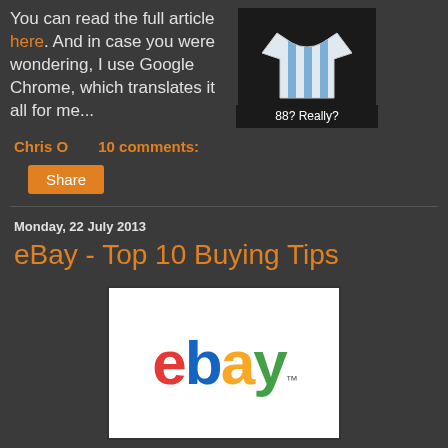You can read the full article here. And in case you were wondering, I use Google Chrome, which translates it all for me...
[Figure (photo): Product image of an Argentina football shirt with blue and white stripes on dark background, captioned '88? Really?']
Chris O   10 comments:
Share
Monday, 22 July 2013
eBay - Top 10 Buying Tips
[Figure (logo): eBay logo on white background with red 'e', blue 'b', yellow 'a', green 'y']